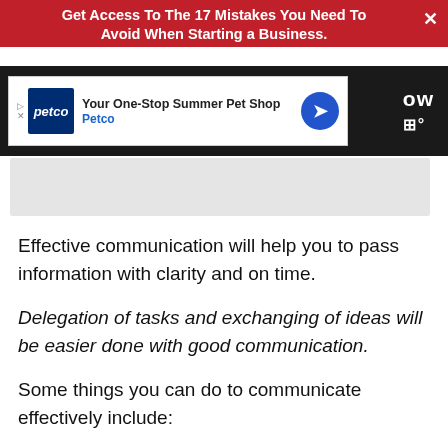Get Access To The 17 Mistakes You Need To Avoid When Starting a Business.
[Figure (screenshot): Petco advertisement banner: 'Your One-Stop Summer Pet Shop - Petco' with Petco logo and blue directional arrow icon]
Effective communication will help you to pass information with clarity and on time.
Delegation of tasks and exchanging of ideas will be easier done with good communication.
Some things you can do to communicate effectively include: